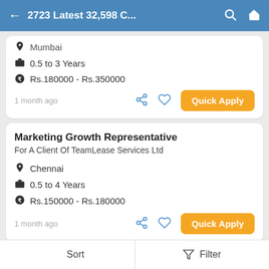2723 Latest 32,598 C...
Mumbai
0.5 to 3 Years
Rs.180000 - Rs.350000
1 month ago
Marketing Growth Representative
For A Client Of TeamLease Services Ltd
Chennai
0.5 to 4 Years
Rs.150000 - Rs.180000
1 month ago
Sort   Filter